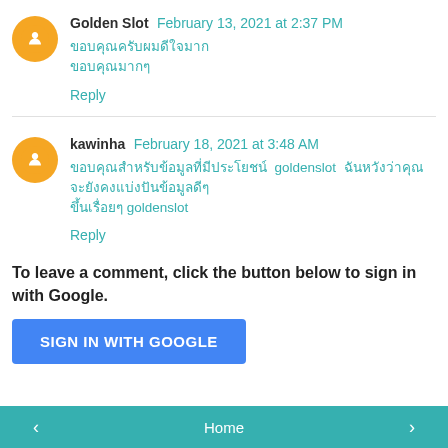Golden Slot  February 13, 2021 at 2:37 PM
[Thai text]
Reply
kawinha  February 18, 2021 at 3:48 AM
[Thai text] goldenslot [Thai text]
[Thai text] goldenslot
Reply
To leave a comment, click the button below to sign in with Google.
SIGN IN WITH GOOGLE
< Home >